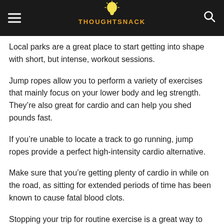THOUGHTSNACK
Local parks are a great place to start getting into shape with short, but intense, workout sessions.
Jump ropes allow you to perform a variety of exercises that mainly focus on your lower body and leg strength. They’re also great for cardio and can help you shed pounds fast.
If you’re unable to locate a track to go running, jump ropes provide a perfect high-intensity cardio alternative.
Make sure that you’re getting plenty of cardio in while on the road, as sitting for extended periods of time has been known to cause fatal blood clots.
Stopping your trip for routine exercise is a great way to